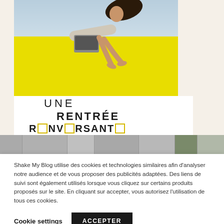[Figure (photo): Fashion/lifestyle photo showing a young woman with flowing hair on a bright yellow background, with text overlay reading 'UNE RENTRÉE R□NV□RSANT□' in bold geometric letters]
[Figure (photo): Horizontal strip of small thumbnail images across the full page width]
Shake My Blog utilise des cookies et technologies similaires afin d'analyser notre audience et de vous proposer des publicités adaptées. Des liens de suivi sont également utilisés lorsque vous cliquez sur certains produits proposés sur le site. En cliquant sur accepter, vous autorisez l'utilisation de tous ces cookies.
Cookie settings
ACCEPTER